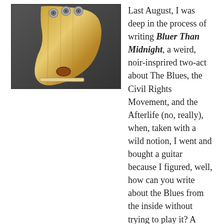[Figure (photo): Close-up photo of the headstock of a Fender Stratocaster electric guitar with maple neck, tuning pegs visible at top, string nut at bottom, and a dark background.]
Last August, I was deep in the process of writing Bluer Than Midnight, a weird, noir-insprired two-act about The Blues, the Civil Rights Movement, and the Afterlife (no, really), when, taken with a wild notion, I went and bought a guitar because I figured, well, how can you write about the Blues from the inside without trying to play it? A quaint notion, but still....
Anyway, after a year of struggling with my Strat, I finally managed, this weekend, to play a Blues song above my usual profound level of lameness such that I enjoyed myself. It's "You Gotta Move," a Fred McDowell tune